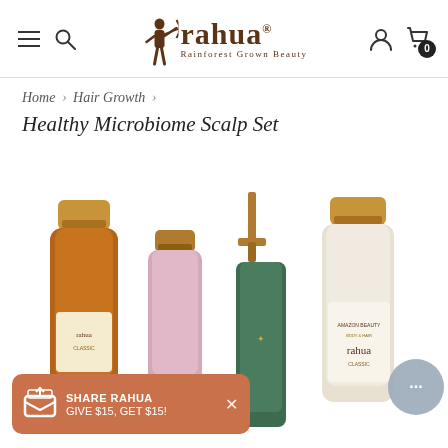[Figure (logo): Rahua 'Rainforest Grown Beauty' brand logo with archer silhouette in brown]
Home › Hair Growth › Healthy Microbiome Scalp Set
Healthy Microbiome Scalp Set
[Figure (photo): Four Rahua hair care product bottles with gold caps on white background — amber bottle, pink bottle, green pump bottle, and white lotion bottle]
SHARE RAHUA GIVE $15, GET $15!